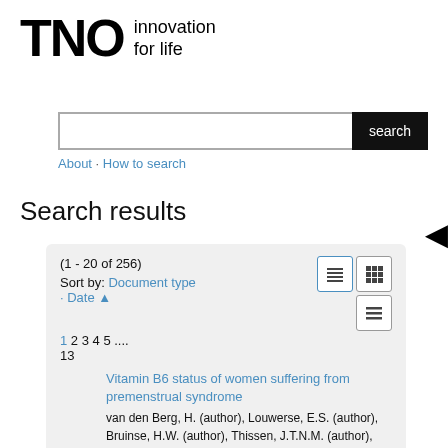[Figure (logo): TNO logo with 'innovation for life' tagline]
[Figure (screenshot): Search input box with 'search' button]
About · How to search
Search results
(1 - 20 of 256)
Sort by: Document type
· Date ▲
1 2 3 4 5 .... 13
Vitamin B6 status of women suffering from premenstrual syndrome
van den Berg, H. (author), Louwerse, E.S. (author), Bruinse, H.W. (author), Thissen, J.T.N.M. (author), Schrijver, J. (author), Centraal Instituut